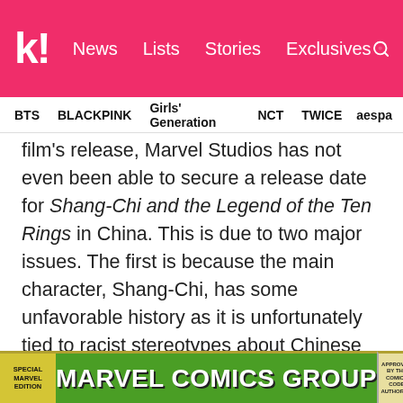k! News Lists Stories Exclusives
BTS BLACKPINK Girls' Generation NCT TWICE aespa
film's release, Marvel Studios has not even been able to secure a release date for Shang-Chi and the Legend of the Ten Rings in China. This is due to two major issues. The first is because the main character, Shang-Chi, has some unfavorable history as it is unfortunately tied to racist stereotypes about Chinese people. The other issue is that some Marvel Studios' crew, even from other projects, have said some less than favorable things in the opinion of the Chinese Government.
[Figure (photo): Bottom strip showing a Marvel Comics Group comic book cover with green banner, yellow background, and special marvel edition label on the left.]